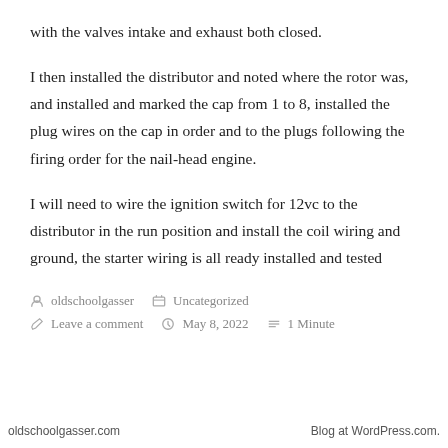with the valves intake and exhaust both closed.
I then installed the distributor and noted where the rotor was, and installed and marked the cap from 1 to 8, installed the plug wires on the cap in order and to the plugs following the firing order for the nail-head engine.
I will need to wire the ignition switch for 12vc to the distributor in the run position and install the coil wiring and ground, the starter wiring is all ready installed and tested
oldschoolgasser   Uncategorized
Leave a comment   May 8, 2022   1 Minute
oldschoolgasser.com   Blog at WordPress.com.